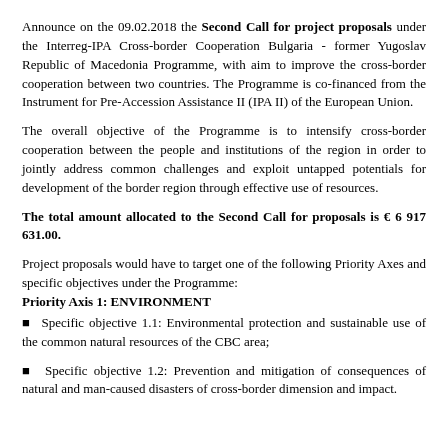Announce on the 09.02.2018 the Second Call for project proposals under the Interreg-IPA Cross-border Cooperation Bulgaria - former Yugoslav Republic of Macedonia Programme, with aim to improve the cross-border cooperation between two countries. The Programme is co-financed from the Instrument for Pre-Accession Assistance II (IPA II) of the European Union.
The overall objective of the Programme is to intensify cross-border cooperation between the people and institutions of the region in order to jointly address common challenges and exploit untapped potentials for development of the border region through effective use of resources.
The total amount allocated to the Second Call for proposals is € 6 917 631.00.
Project proposals would have to target one of the following Priority Axes and specific objectives under the Programme:
Priority Axis 1: ENVIRONMENT
⁪ Specific objective 1.1: Environmental protection and sustainable use of the common natural resources of the CBC area;
⁪ Specific objective 1.2: Prevention and mitigation of consequences of natural and man-caused disasters of cross-border dimension and impact.